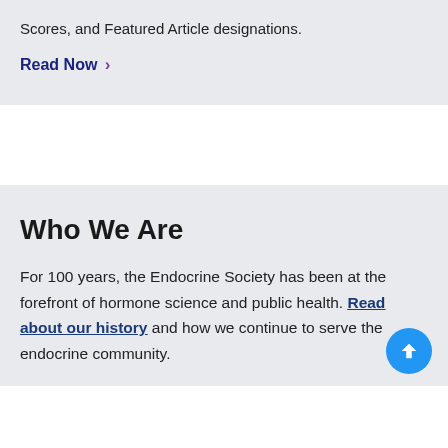Scores, and Featured Article designations.
Read Now >
Who We Are
For 100 years, the Endocrine Society has been at the forefront of hormone science and public health. Read about our history and how we continue to serve the endocrine community.